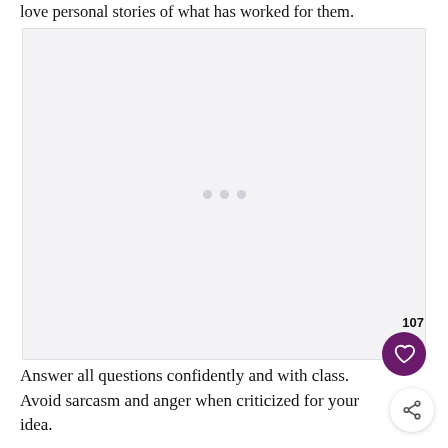love personal stories of what has worked for them.
[Figure (other): Light grey advertisement placeholder box with three small grey dots in the center]
Answer all questions confidently and with class. Avoid sarcasm and anger when criticized for your idea.